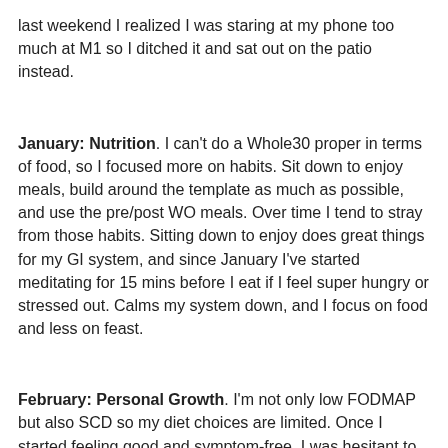last weekend I realized I was staring at my phone too much at M1 so I ditched it and sat out on the patio instead.
January: Nutrition. I can't do a Whole30 proper in terms of food, so I focused more on habits. Sit down to enjoy meals, build around the template as much as possible, and use the pre/post WO meals. Over time I tend to stray from those habits. Sitting down to enjoy does great things for my GI system, and since January I've started meditating for 15 mins before I eat if I feel super hungry or stressed out. Calms my system down, and I focus on food and less on feast.
February: Personal Growth. I'm not only low FODMAP but also SCD so my diet choices are limited. Once I started feeling good and symptom-free, I was hesitant to re-intro foods. I found I was eating the same foods over and over, so my goal was to start testing again. I've logged my foods, found since February that I can eat small amounts of butternut squash, nibbles of chocolate, 2-3 Nori sheets, a handful of blackberries, and a few others. Can't eat any garlic or onion still, nothing over a fist-size white potato, no more than 2-3